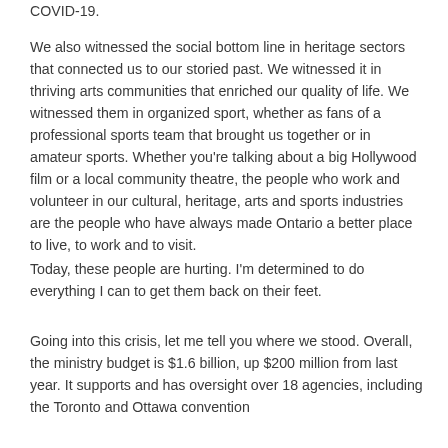COVID-19.
We also witnessed the social bottom line in heritage sectors that connected us to our storied past. We witnessed it in thriving arts communities that enriched our quality of life. We witnessed them in organized sport, whether as fans of a professional sports team that brought us together or in amateur sports. Whether you're talking about a big Hollywood film or a local community theatre, the people who work and volunteer in our cultural, heritage, arts and sports industries are the people who have always made Ontario a better place to live, to work and to visit.
Today, these people are hurting. I'm determined to do everything I can to get them back on their feet.
Going into this crisis, let me tell you where we stood. Overall, the ministry budget is $1.6 billion, up $200 million from last year. It supports and has oversight over 18 agencies, including the Toronto and Ottawa convention